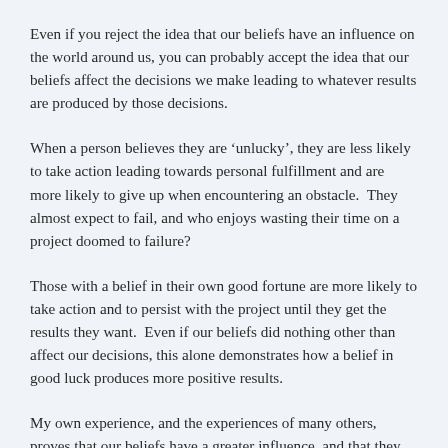Even if you reject the idea that our beliefs have an influence on the world around us, you can probably accept the idea that our beliefs affect the decisions we make leading to whatever results are produced by those decisions.
When a person believes they are ‘unlucky’, they are less likely to take action leading towards personal fulfillment and are more likely to give up when encountering an obstacle.  They almost expect to fail, and who enjoys wasting their time on a project doomed to failure?
Those with a belief in their own good fortune are more likely to take action and to persist with the project until they get the results they want.  Even if our beliefs did nothing other than affect our decisions, this alone demonstrates how a belief in good luck produces more positive results.
My own experience, and the experiences of many others, proves that our beliefs have a greater influence, and that they can alter the course of events outside ourselves as well. Someone who believes they are lucky will win games of chance much more often than someone who believes they are